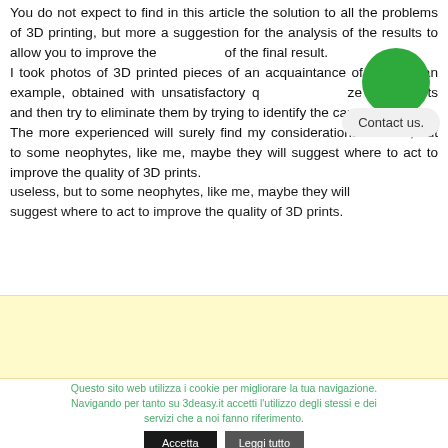You do not expect to find in this article the solution to all the problems of 3D printing, but more a suggestion for the analysis of the results to allow you to improve the quality of the final result. I took photos of 3D printed pieces of an acquaintance of mine as an example, obtained with unsatisfactory quality, to analyze the defects and then try to eliminate them by trying to identify the causes. The more experienced will surely find my considerations useless, but to some neophytes, like me, maybe they will suggest where to act to improve the quality of 3D prints.
[Figure (other): Green circle UI element (possibly a user avatar or status indicator) overlapping the text area in the top right]
[Figure (other): Light gray rounded bubble UI tooltip/popup with text 'Contact us.' overlapping the main text]
[Figure (other): Yellow/cream colored advertisement or banner area below the main text]
Questo sito web utilizza i cookie per migliorare la tua navigazione. Navigando per tanto su 3deasy.it accetti l'utilizzo degli stessi e dei servizi che a noi fanno riferimento.